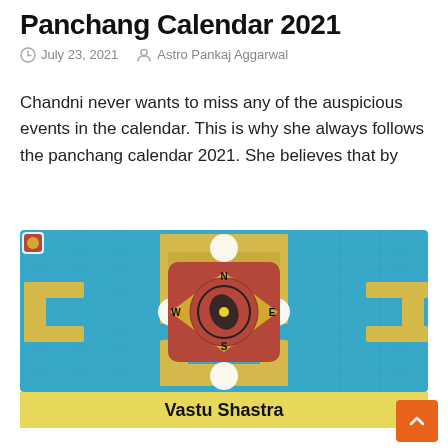Panchang Calendar 2021
July 23, 2021   Astro Pankaj Aggarwal
Chandni never wants to miss any of the auspicious events in the calendar. This is why she always follows the panchang calendar 2021. She believes that by
[Figure (illustration): Vastu Shastra diagram showing a compass-style mandala with N/S/E/W directions on a blue background, with yellow geometric frame elements and white circular accents. Caption at bottom reads 'Vastu Shastra'.]